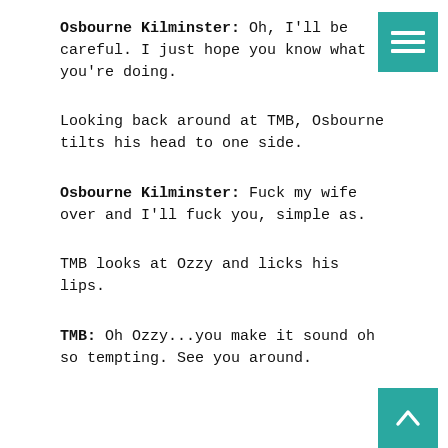Osbourne Kilminster: Oh, I'll be careful. I just hope you know what you're doing.
Looking back around at TMB, Osbourne tilts his head to one side.
Osbourne Kilminster: Fuck my wife over and I'll fuck you, simple as.
TMB looks at Ozzy and licks his lips.
TMB: Oh Ozzy...you make it sound oh so tempting. See you around.